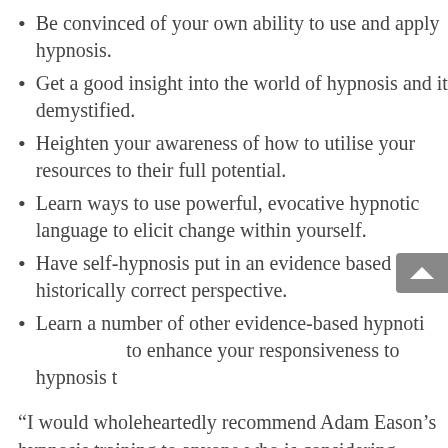Be convinced of your own ability to use and apply hypnosis.
Get a good insight into the world of hypnosis and it demystified.
Heighten your awareness of how to utilise your resources to their full potential.
Learn ways to use powerful, evocative hypnotic language to elicit change within yourself.
Have self-hypnosis put in an evidence based and historically correct perspective.
Learn a number of other evidence-based hypnotic techniques to enhance your responsiveness to hypnosis too.
“I would wholeheartedly recommend Adam Eason’s hypnosis training to anyone who is considering utilising the benefits of hypnosis. Adam makes the entire subject highly accessible and you can make progress at a surprising rate (after just 4 hours tuition I did not m…